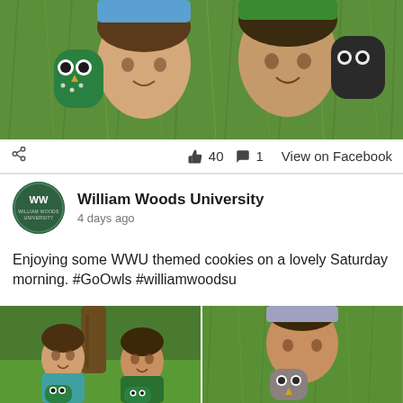[Figure (photo): Two children lying on grass holding owl-shaped cookies/plush items, viewed from above. One child wears a blue shirt, the other a green shirt. Green owl cookie visible.]
40  1  View on Facebook
William Woods University
4 days ago
Enjoying some WWU themed cookies on a lovely Saturday morning. #GoOwls #williamwoodsu
[Figure (photo): Two photos side by side: left shows two young boys sitting by a tree on grass holding owl cookies, smiling; right shows a child lying on grass holding a cookie/owl item.]